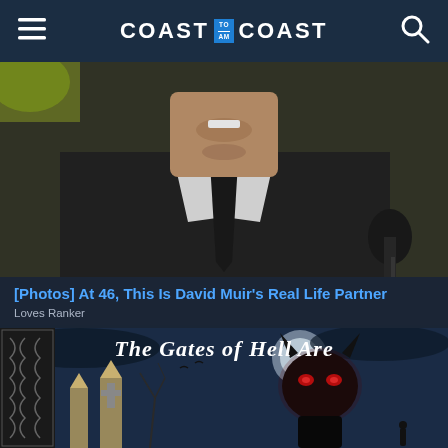COAST TO AM COAST
[Figure (photo): Close-up photo of a man in a dark suit and tie speaking at a microphone, cropped to show chin and chest area]
[Photos] At 46, This Is David Muir's Real Life Partner
Loves Ranker
[Figure (illustration): Book cover or promotional image reading 'The Gates of Hell Are' with a dark stylized demon figure with glowing red eyes and horns against a moonlit sky, gothic gates and bare trees in background, with Celtic knotwork border on the left]